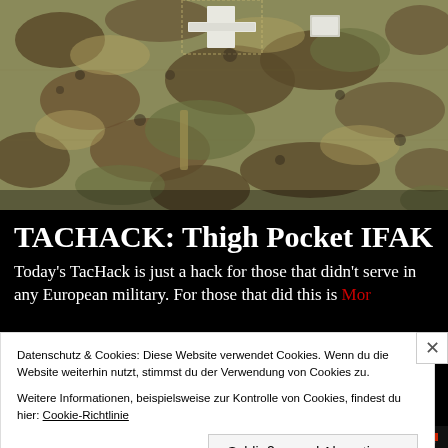[Figure (photo): Military camouflage uniform with a white cross/first aid patch visible on the pocket, close-up shot.]
TACHACK: Thigh Pocket IFAK
Today's TacHack is just a hack for those that didn't serve in any European military. For those that did this is Mor...
Datenschutz & Cookies: Diese Website verwendet Cookies. Wenn du die Website weiterhin nutzt, stimmst du der Verwendung von Cookies zu.
Weitere Informationen, beispielsweise zur Kontrolle von Cookies, findest du hier: Cookie-Richtlinie
Schließen und Akzeptieren